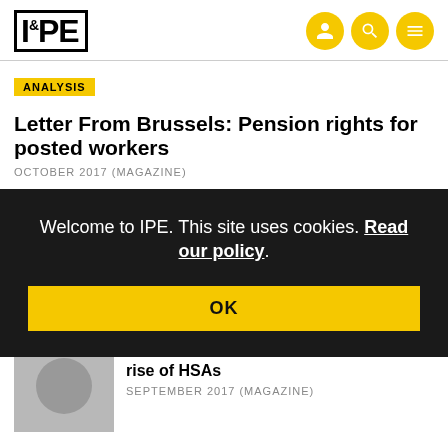IPE
ANALYSIS
Letter From Brussels: Pension rights for posted workers
OCTOBER 2017 (MAGAZINE)
ANALYSIS
Welcome to IPE. This site uses cookies. Read our policy.
OK
Letter from the US: Tax benefits boost rise of HSAs
SEPTEMBER 2017 (MAGAZINE)